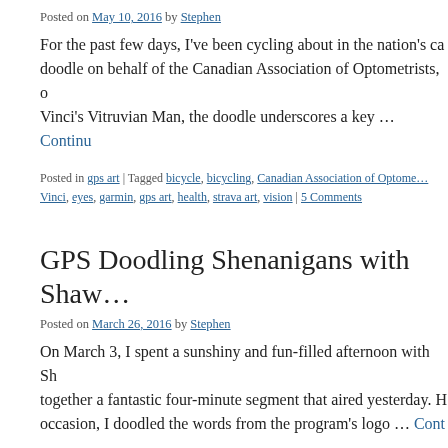Posted on May 10, 2016 by Stephen
For the past few days, I've been cycling about in the nation's ca… doodle on behalf of the Canadian Association of Optometrists, o… Vinci's Vitruvian Man, the doodle underscores a key … Continue
Posted in gps art | Tagged bicycle, bicycling, Canadian Association of Optome… Vinci, eyes, garmin, gps art, health, strava art, vision | 5 Comments
GPS Doodling Shenanigans with Shaw
Posted on March 26, 2016 by Stephen
On March 3, I spent a sunshiny and fun-filled afternoon with Sh… together a fantastic four-minute segment that aired yesterday. H… occasion, I doodled the words from the program's logo … Cont…
Posted in bike-writing, gps art, News & media | Tagged bicycle, bicycling, bike… gps, gps art, Shaw TV, strava, strava art, victoria bc, YYJ | 3 Comments